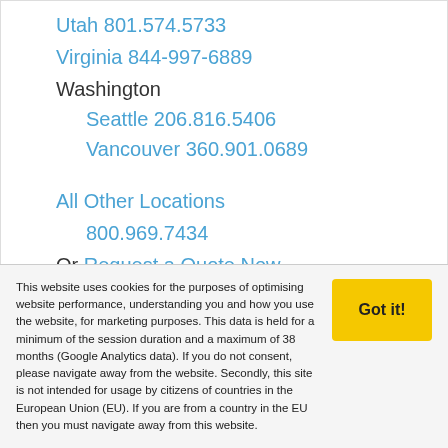Utah 801.574.5733
Virginia 844-997-6889
Washington
Seattle 206.816.5406
Vancouver 360.901.0689
All Other Locations
800.969.7434
Or Request a Quote Now
Corporate Office
800.969.7434
24-HOUR EMERGENCY RESPONSE 800.969.7434
This website uses cookies for the purposes of optimising website performance, understanding you and how you use the website, for marketing purposes. This data is held for a minimum of the session duration and a maximum of 38 months (Google Analytics data). If you do not consent, please navigate away from the website. Secondly, this site is not intended for usage by citizens of countries in the European Union (EU). If you are from a country in the EU then you must navigate away from this website.